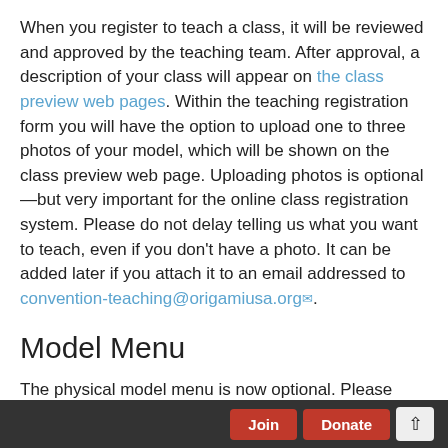When you register to teach a class, it will be reviewed and approved by the teaching team. After approval, a description of your class will appear on the class preview web pages. Within the teaching registration form you will have the option to upload one to three photos of your model, which will be shown on the class preview web page. Uploading photos is optional—but very important for the online class registration system. Please do not delay telling us what you want to teach, even if you don't have a photo. It can be added later if you attach it to an email addressed to convention-teaching@origamiusa.org.
Model Menu
The physical model menu is now optional. Please make certain that the photos you upload for the classes you plan to teach are clear and attractive. This is what people will
Join   Donate   ↑